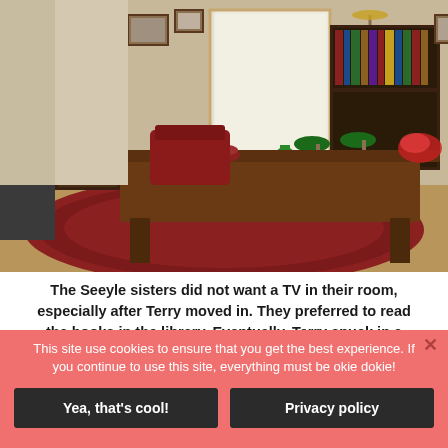[Figure (photo): Interior of a Victorian-style library/sitting room with a large wooden table, oriental rug, green banker's lamps, framed pictures on walls, bookshelves, and a floor lamp near a window with sheer curtains.]
The Seeyle sisters did not want a TV in their room, especially after Terry moved in. They preferred to read the books in the library. Eventually, Terry snuck in a
This site use cookies to ensure that you get the best experience. If you continue to use this site, everything must be okie dokie!
Yea, that's cool!
Privacy policy